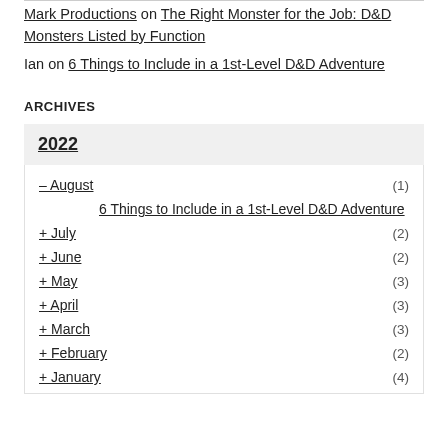Mark Productions on The Right Monster for the Job: D&D Monsters Listed by Function
Ian on 6 Things to Include in a 1st-Level D&D Adventure
ARCHIVES
2022
– August (1)
6 Things to Include in a 1st-Level D&D Adventure
+ July (2)
+ June (2)
+ May (3)
+ April (3)
+ March (3)
+ February (2)
+ January (4)